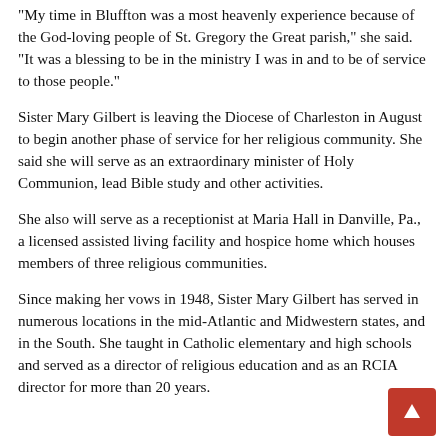“My time in Bluffton was a most heavenly experience because of the God-loving people of St. Gregory the Great parish,” she said. “It was a blessing to be in the ministry I was in and to be of service to those people.”
Sister Mary Gilbert is leaving the Diocese of Charleston in August to begin another phase of service for her religious community. She said she will serve as an extraordinary minister of Holy Communion, lead Bible study and other activities.
She also will serve as a receptionist at Maria Hall in Danville, Pa., a licensed assisted living facility and hospice home which houses members of three religious communities.
Since making her vows in 1948, Sister Mary Gilbert has served in numerous locations in the mid-Atlantic and Midwestern states, and in the South. She taught in Catholic elementary and high schools and served as a director of religious education and as an RCIA director for more than 20 years.